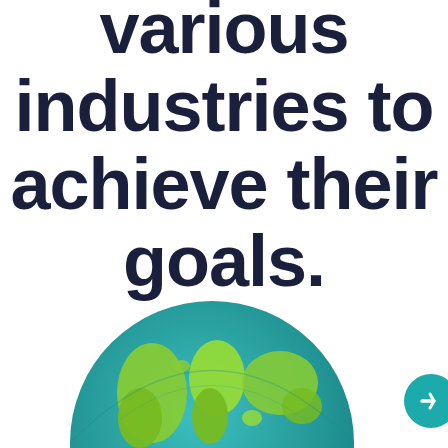various industries to achieve their goals.
Re |
[Figure (illustration): A globe illustration showing Earth with green landmasses and teal/blue oceans, viewed from above the Northern Hemisphere. A teal circular button/arrow appears at the bottom right corner.]